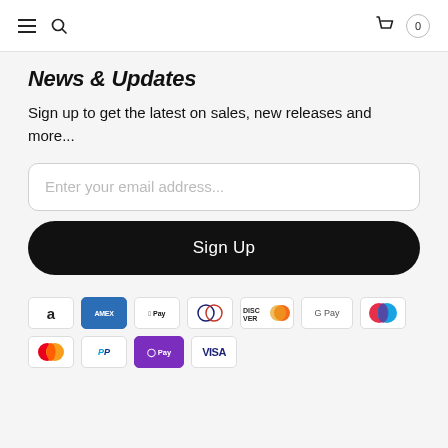Navigation bar with hamburger menu, search icon, basket icon, cart count 0
News & Updates
Sign up to get the latest on sales, new releases and more...
Enter your email address...
Sign Up
[Figure (other): Row of payment method icons: Amazon, Amex, Apple Pay, Diners Club, Discover, Google Pay, Maestro, Mastercard, PayPal, OPay, Visa]